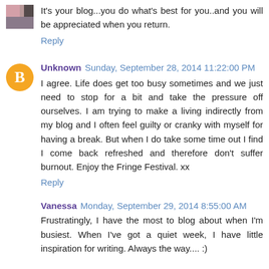It's your blog...you do what's best for you..and you will be appreciated when you return.
Reply
Unknown  Sunday, September 28, 2014 11:22:00 PM
I agree. Life does get too busy sometimes and we just need to stop for a bit and take the pressure off ourselves. I am trying to make a living indirectly from my blog and I often feel guilty or cranky with myself for having a break. But when I do take some time out I find I come back refreshed and therefore don't suffer burnout. Enjoy the Fringe Festival. xx
Reply
Vanessa  Monday, September 29, 2014 8:55:00 AM
Frustratingly, I have the most to blog about when I'm busiest. When I've got a quiet week, I have little inspiration for writing. Always the way.... :)